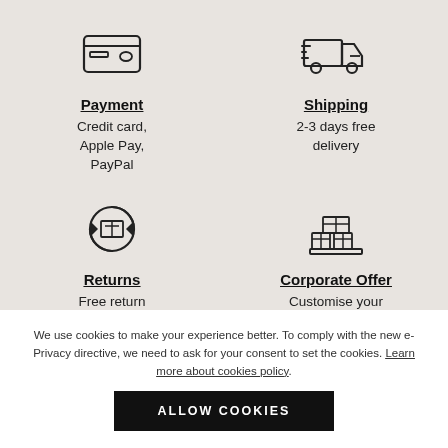[Figure (illustration): Credit card icon]
Payment
Credit card, Apple Pay, PayPal
[Figure (illustration): Delivery truck with speed lines icon]
Shipping
2-3 days free delivery
[Figure (illustration): Returns/refresh with box icon]
Returns
Free return
[Figure (illustration): Stacked boxes/warehouse icon]
Corporate Offer
Customise your
We use cookies to make your experience better. To comply with the new e-Privacy directive, we need to ask for your consent to set the cookies. Learn more about cookies policy.
ALLOW COOKIES